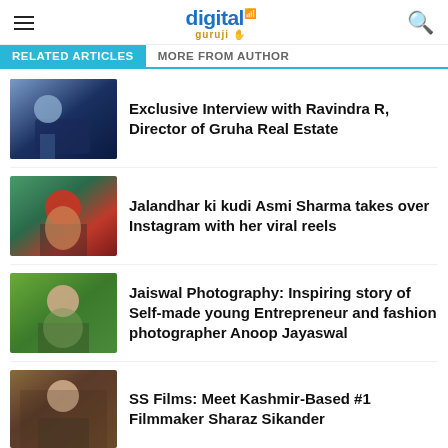digital guruji
RELATED ARTICLES | MORE FROM AUTHOR
[Figure (photo): Man standing near a blue vintage car]
Exclusive Interview with Ravindra R, Director of Gruha Real Estate
[Figure (photo): Young woman wearing a red beret hat]
Jalandhar ki kudi Asmi Sharma takes over Instagram with her viral reels
[Figure (photo): Young man in a garden/park setting]
Jaiswal Photography: Inspiring story of Self-made young Entrepreneur and fashion photographer Anoop Jayaswal
[Figure (photo): Young man with trees in background]
SS Films: Meet Kashmir-Based #1 Filmmaker Sharaz Sikander